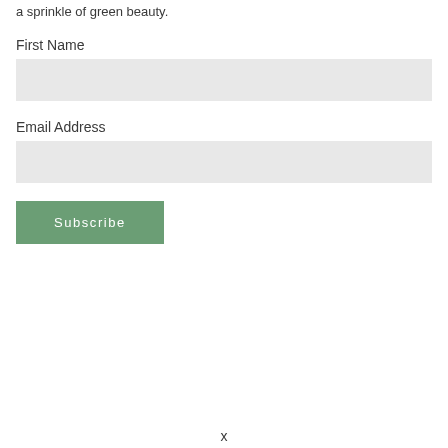a sprinkle of green beauty.
First Name
Email Address
Subscribe